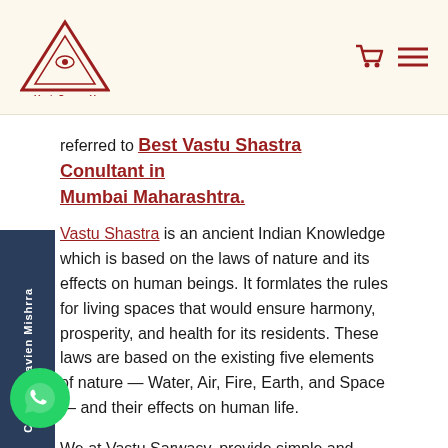VastuSarwasV logo with navigation icons
referred to Best Vastu Shastra Conultant in Mumbai Maharashtra.
Vastu Shastra is an ancient Indian Knowledge which is based on the laws of nature and its effects on human beings. It formlates the rules for living spaces that would ensure harmony, prosperity, and health for its residents. These laws are based on the existing five elements of nature — Water, Air, Fire, Earth, and Space — and their effects on human life.
We at Vastu Sarwasv, provide simple and effective meaningful solutions for Vastu Consultant In Ghatkopar Mumbai Maharashtra to make your living space, living area vastu compliant, and we do this without recommending structural demolitions